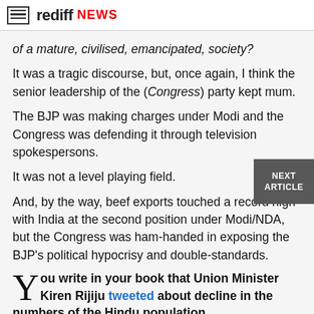rediff NEWS
of a mature, civilised, emancipated, society?
It was a tragic discourse, but, once again, I think the senior leadership of the (Congress) party kept mum.
The BJP was making charges under Modi and the Congress was defending it through television spokespersons.
It was not a level playing field.
And, by the way, beef exports touched a record high with India at the second position under Modi/NDA, but the Congress was ham-handed in exposing the BJP's political hypocrisy and double-standards.
You write in your book that Union Minister Kiren Rijiju tweeted about decline in the numbers of the Hindu population.
On social media, the Modi government has successfully put this fear in Hindus that 'Hindu khatrey mein hai (Hindus are in danger)'.